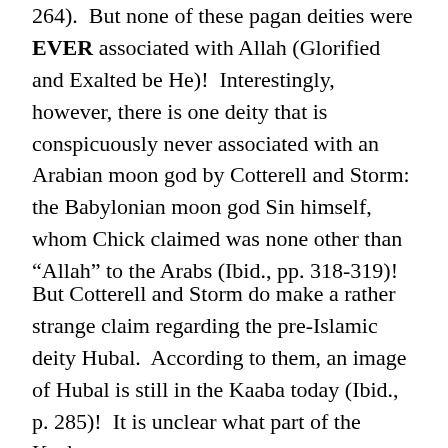264).  But none of these pagan deities were EVER associated with Allah (Glorified and Exalted be He)!  Interestingly, however, there is one deity that is conspicuously never associated with an Arabian moon god by Cotterell and Storm: the Babylonian moon god Sin himself, whom Chick claimed was none other than “Allah” to the Arabs (Ibid., pp. 318-319)!
But Cotterell and Storm do make a rather strange claim regarding the pre-Islamic deity Hubal.  According to them, an image of Hubal is still in the Kaaba today (Ibid., p. 285)!  It is unclear what part of the Kaaba